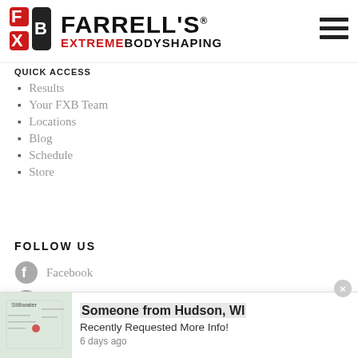[Figure (logo): Farrell's Extreme Bodyshaping logo with red and black text and a stylized FXB icon]
QUICK ACCESS
Results
Your FXB Team
Locations
Blog
Schedule
Store
FOLLOW US
Facebook
Google
Youtube
Someone from Hudson, WI
Recently Requested More Info!
6 days ago